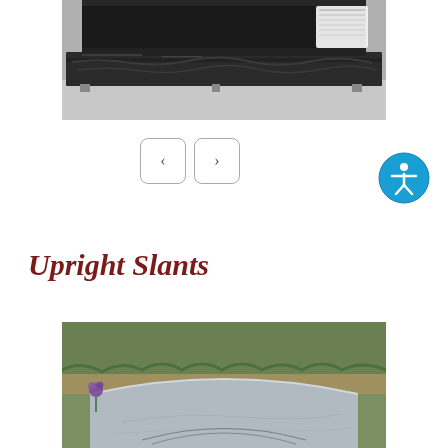[Figure (photo): Black granite grave marker base on display in a showroom, with a dark upright monument behind it. A small price tag is visible on the right side.]
[Figure (other): Navigation carousel buttons: left arrow and right arrow in rounded rectangle buttons]
[Figure (other): Accessibility icon: blue circle with white figure in universal access pose]
Upright Slants
[Figure (photo): A light gray granite upright slant grave marker photographed outdoors in a cemetery setting with grass and foliage in the background. A small purple flower is visible at the left.]